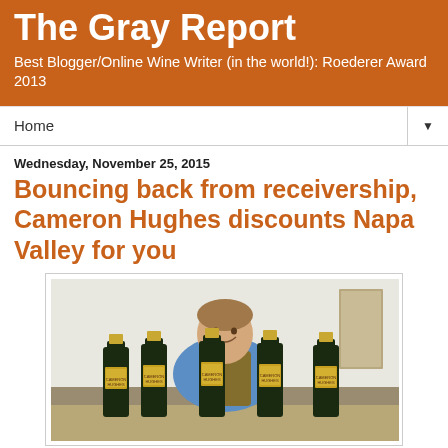The Gray Report
Best Blogger/Online Wine Writer (in the world!): Roederer Award 2013
Home
Wednesday, November 25, 2015
Bouncing back from receivership, Cameron Hughes discounts Napa Valley for you
[Figure (photo): A man in a blue shirt and brown vest smiling behind a row of several dark wine bottles with gold caps and Cameron Hughes labels, in a room with white walls.]